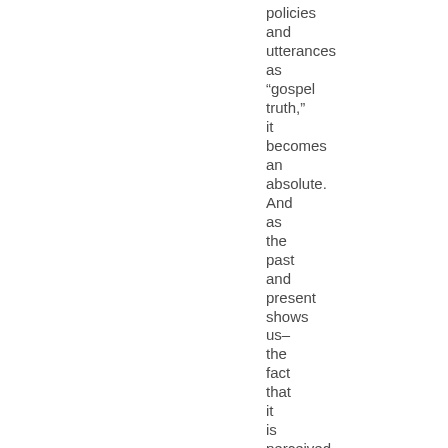policies and utterances as “gospel truth,” it becomes an absolute. And as the past and present shows us– the fact that it is perceived gospel, but really